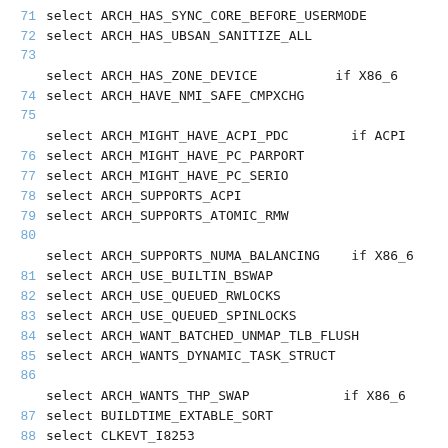Code listing lines 71-90: Kconfig select statements for ARCH_ configurations
71        select ARCH_HAS_SYNC_CORE_BEFORE_USERMODE
72            select ARCH_HAS_UBSAN_SANITIZE_ALL
73
select ARCH_HAS_ZONE_DEVICE         if X86_6
74            select ARCH_HAVE_NMI_SAFE_CMPXCHG
75
select ARCH_MIGHT_HAVE_ACPI_PDC         if ACPI
76            select ARCH_MIGHT_HAVE_PC_PARPORT
77            select ARCH_MIGHT_HAVE_PC_SERIO
78            select ARCH_SUPPORTS_ACPI
79            select ARCH_SUPPORTS_ATOMIC_RMW
80
select ARCH_SUPPORTS_NUMA_BALANCING     if X86_6
81            select ARCH_USE_BUILTIN_BSWAP
82            select ARCH_USE_QUEUED_RWLOCKS
83            select ARCH_USE_QUEUED_SPINLOCKS
84            select ARCH_WANT_BATCHED_UNMAP_TLB_FLUSH
85            select ARCH_WANTS_DYNAMIC_TASK_STRUCT
86
select ARCH_WANTS_THP_SWAP              if X86_6
87            select BUILDTIME_EXTABLE_SORT
88            select CLKEVT_I8253
89            select CLOCKSOURCE_VALIDATE_LAST_CYCLE
90            select CLOCKSOURCE_WATCHDOG